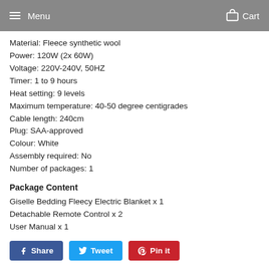Menu  Cart
Material: Fleece synthetic wool
Power: 120W (2x 60W)
Voltage: 220V-240V, 50HZ
Timer: 1 to 9 hours
Heat setting: 9 levels
Maximum temperature: 40-50 degree centigrades
Cable length: 240cm
Plug: SAA-approved
Colour: White
Assembly required: No
Number of packages: 1
Package Content
Giselle Bedding Fleecy Electric Blanket x 1
Detachable Remote Control x 2
User Manual x 1